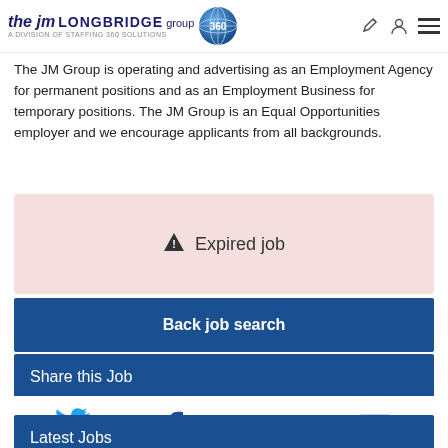the JM LONGBRIDGE group - A DIVISION OF STAFFING 360 SOLUTIONS
The JM Group is operating and advertising as an Employment Agency for permanent positions and as an Employment Business for temporary positions. The JM Group is an Equal Opportunities employer and we encourage applicants from all backgrounds.
⚠ Expired job
Back job search
Share this Job
[Figure (infographic): Social share icons: Twitter, Facebook, LinkedIn, Email]
Latest Jobs